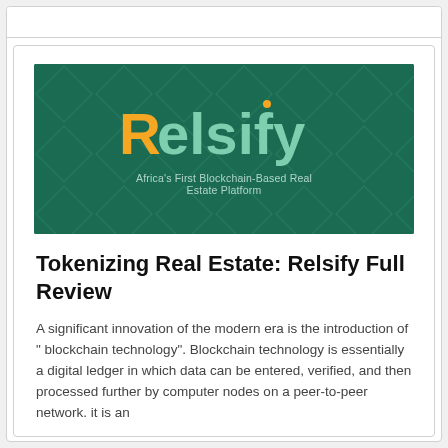[Figure (logo): Relsify logo banner with dark green background, diamond geometric pattern, yellow and teal 'Relsify' wordmark, and tagline 'Africa's First Blockchain-Based Real Estate Platform']
Tokenizing Real Estate: Relsify Full Review
A significant innovation of the modern era is the introduction of " blockchain technology". Blockchain technology is essentially a digital ledger in which data can be entered, verified, and then processed further by computer nodes on a peer-to-peer network. it is an